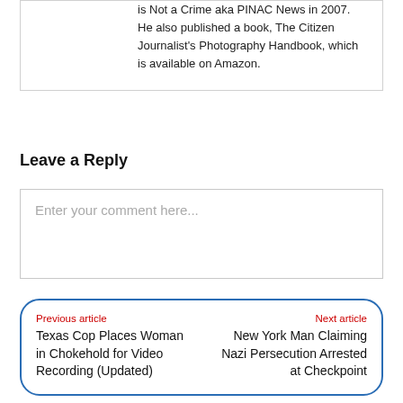is Not a Crime aka PINAC News in 2007. He also published a book, The Citizen Journalist's Photography Handbook, which is available on Amazon.
Leave a Reply
Enter your comment here...
Previous article
Texas Cop Places Woman in Chokehold for Video Recording (Updated)
Next article
New York Man Claiming Nazi Persecution Arrested at Checkpoint